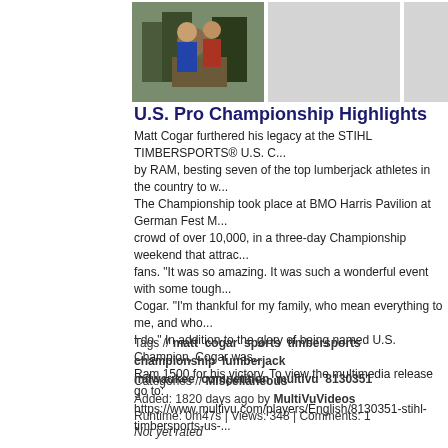[Figure (photo): Thumbnail photo of lumberjack athlete at STIHL TIMBERSPORTS championship]
[Figure (photo): Gray placeholder thumbnail]
[Figure (photo): Gray placeholder thumbnail]
U.S. Pro Championship Highlights
Matt Cogar furthered his legacy at the STIHL TIMBERSPORTS® U.S. C... by RAM, besting seven of the top lumberjack athletes in the country to w... The Championship took place at BMO Harris Pavilion at German Fest M... crowd of over 10,000, in a three-day Championship weekend that attrac... fans. "It was so amazing. It was such a wonderful event with some tough... Cogar. "I'm thankful for my family, who mean everything to me, and who... I do." In addition to the glory of being named U.S. Champion, Cogar was... Ram 1500 for his victory. To view the multimedia release go to: https://www.multivu.com/players/English/8130351-stihl-timbersports-us-...
Tags // matt cogar sports timbersports championship lumberjack milwaukee competition multivu 8130351
Categories // Miscellaneous
Added: 1820 days ago by MultiVuVideos
Runtime: 0m47s | Views: 348 | Comments: 1
Not yet rated
[Figure (photo): Gray placeholder thumbnail 1 for Caribbean Cup Challenge]
[Figure (photo): Gray placeholder thumbnail 2 for Caribbean Cup Challenge]
[Figure (photo): Gray placeholder thumbnail 3 for Caribbean Cup Challenge]
The Caribbean Cup Challenge
As athletes from around the globe prepare to compete in this winter's bi...